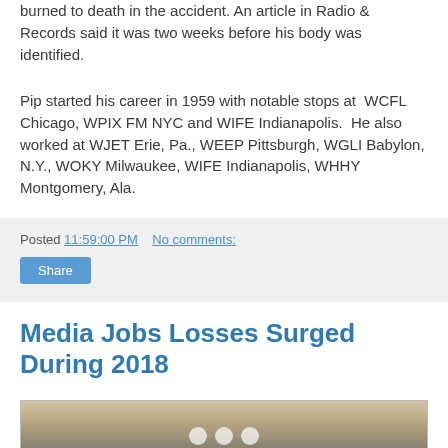burned to death in the accident. An article in Radio & Records said it was two weeks before his body was identified.
Pip started his career in 1959 with notable stops at WCFL Chicago, WPIX FM NYC and WIFE Indianapolis. He also worked at WJET Erie, Pa., WEEP Pittsburgh, WGLI Babylon, N.Y., WOKY Milwaukee, WIFE Indianapolis, WHHY Montgomery, Ala.
Posted 11:59:00 PM   No comments:
Share
Media Jobs Losses Surged During 2018
[Figure (photo): A person holding a chalkboard sign with social media icons on it]